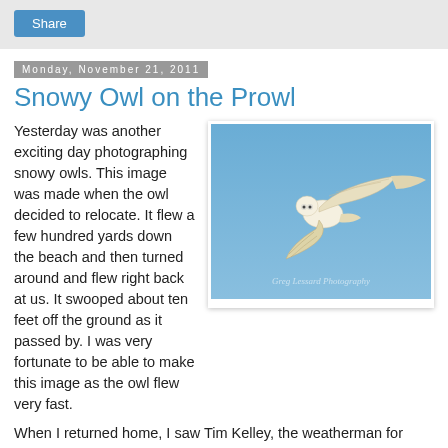Share
Monday, November 21, 2011
Snowy Owl on the Prowl
[Figure (photo): A snowy owl in flight against a blue sky, wings spread wide, photographed by Greg Lessard Photography]
Yesterday was another exciting day photographing snowy owls. This image was made when the owl decided to relocate. It flew a few hundred yards down the beach and then turned around and flew right back at us. It swooped about ten feet off the ground as it passed by. I was very fortunate to be able to make this image as the owl flew very fast.
When I returned home, I saw Tim Kelley, the weatherman for